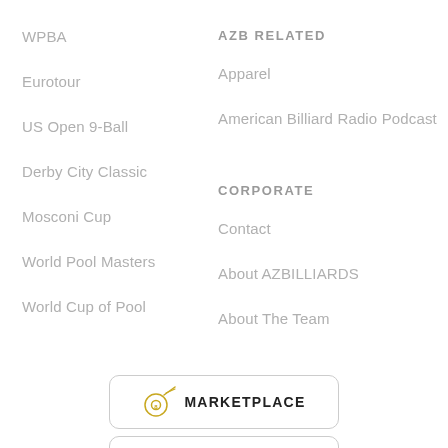WPBA
Eurotour
US Open 9-Ball
Derby City Classic
Mosconi Cup
World Pool Masters
World Cup of Pool
AZB RELATED
Apparel
American Billiard Radio Podcast
CORPORATE
Contact
About AZBILLIARDS
About The Team
[Figure (logo): Marketplace button with billiard ball icon and text MARKETPLACE]